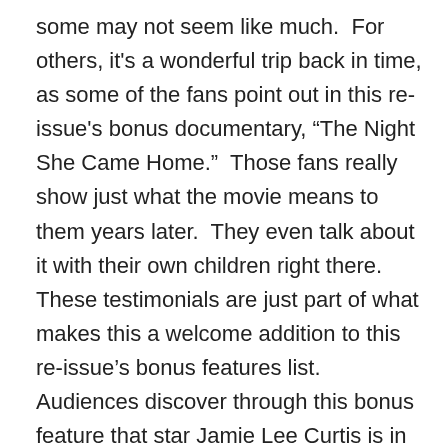some may not seem like much.  For others, it's a wonderful trip back in time, as some of the fans point out in this re-issue's bonus documentary, “The Night She Came Home.”  Those fans really show just what the movie means to them years later.  They even talk about it with their own children right there.  These testimonials are just part of what makes this a welcome addition to this re-issue’s bonus features list.  Audiences discover through this bonus feature that star Jamie Lee Curtis is in fact not a horror movie fan.  She openly admits this early on in the documentary.  That’s a huge surprise to this critic at least.  There’s even more historical perspective added to the movie thanks to the book style case in which the Blu-ray is packaged.  The “book” style packaging includes copious notes written by Stef Hutchinson.  The notes in question take viewers even deeper into the movie’s history